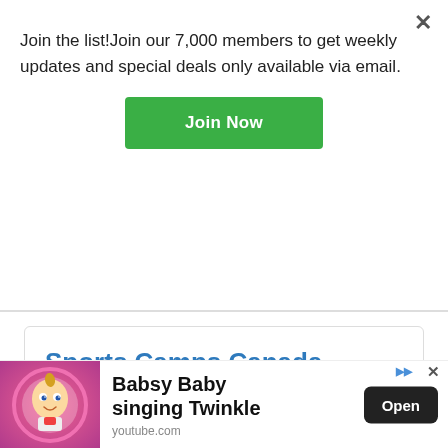Join the list!Join our 7,000 members to get weekly updates and special deals only available via email.
Join Now
Sports Camps Canada
This provider is both online and in-person.
Tennis and Racquet Sports • Kids' Gym & Fitness Programs
Basketball, Baseball & Soccer
Visit Website
[Figure (screenshot): Advertisement banner for Babsy Baby singing Twinkle on youtube.com with an Open button]
Babsy Baby singing Twinkle
youtube.com